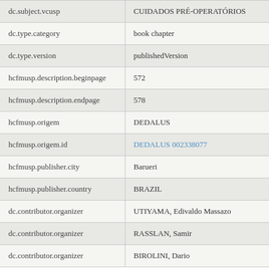| Field | Value |
| --- | --- |
| dc.subject.vcusp | CUIDADOS PRÉ-OPERATÓRIOS |
| dc.type.category | book chapter |
| dc.type.version | publishedVersion |
| hcfmusp.description.beginpage | 572 |
| hcfmusp.description.endpage | 578 |
| hcfmusp.origem | DEDALUS |
| hcfmusp.origem.id | DEDALUS 002338077 |
| hcfmusp.publisher.city | Barueri |
| hcfmusp.publisher.country | BRAZIL |
| dc.contributor.organizer | UTIYAMA, Edivaldo Massazo |
| dc.contributor.organizer | RASSLAN, Samir |
| dc.contributor.organizer | BIROLINI, Dario |